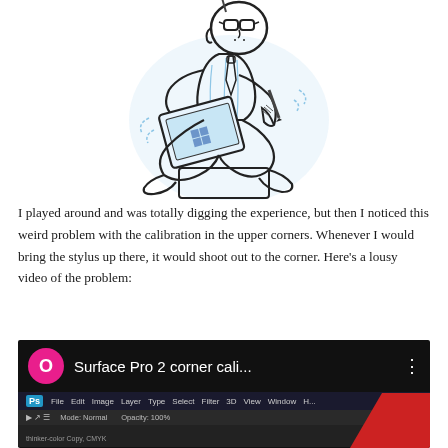[Figure (illustration): A cartoon illustration of a person with glasses sitting cross-legged, drawing or writing on a tablet/laptop with a stylus, using loose blue and black sketch lines]
I played around and was totally digging the experience, but then I noticed this weird problem with the calibration in the upper corners. Whenever I would bring the stylus up there, it would shoot out to the corner. Here’s a lousy video of the problem:
[Figure (screenshot): A video thumbnail showing a YouTube-style video player interface with a pink/magenta circle icon with letter O, title reading 'Surface Pro 2 corner cali...', a three-dot menu icon, and below it a Photoshop interface menu bar visible, with a red shape visible in the bottom-right corner]